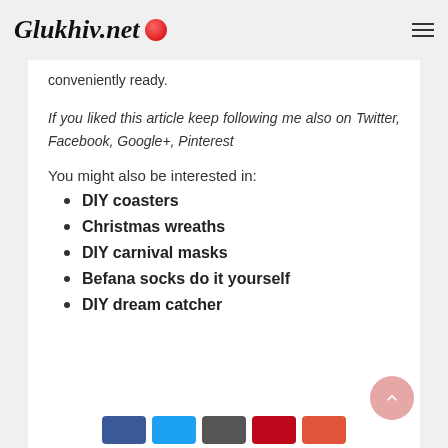Glukhiv.net
conveniently ready.
If you liked this article keep following me also on Twitter, Facebook, Google+, Pinterest
You might also be interested in:
DIY coasters
Christmas wreaths
DIY carnival masks
Befana socks do it yourself
DIY dream catcher